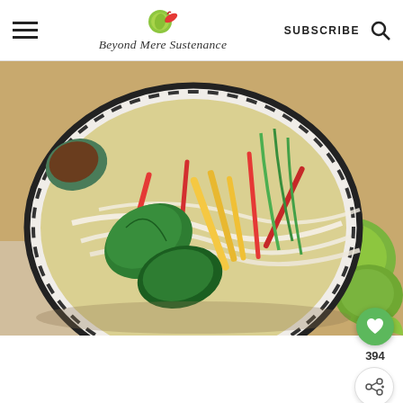Beyond Mere Sustenance — SUBSCRIBE
[Figure (photo): Overhead/top-down photo of a white decorative bowl filled with colorful vegetable noodle dish — rice noodles, red and yellow bell pepper strips, fresh basil leaves, spring onions, with sesame seeds and chili peppers, set on a wooden board with limes in the background]
394